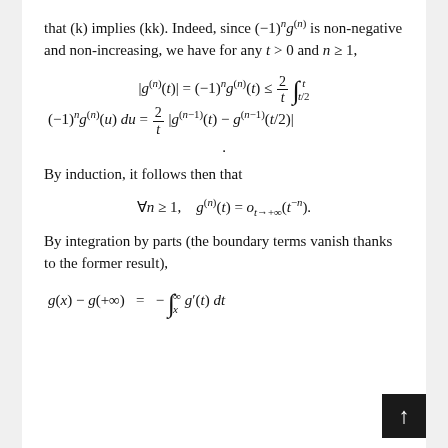that (k) implies (kk). Indeed, since (−1)^n g^(n) is non-negative and non-increasing, we have for any t > 0 and n ≥ 1,
By induction, it follows then that
By integration by parts (the boundary terms vanish thanks to the former result),